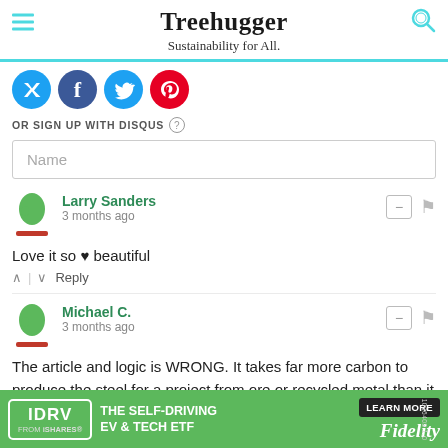Treehugger — Sustainability for All.
[Figure (screenshot): Social media share icons: Twitter/X (blue), Facebook (dark blue), another social (teal), Pinterest (red)]
OR SIGN UP WITH DISQUS ?
Name
Larry Sanders
3 months ago
Love it so ♥ beautiful
^ | v  Reply
Michael C.
3 months ago
The article and logic is WRONG. It takes far more carbon to produce the steel for a project from ore or recycled metal than it takes to
[Figure (screenshot): Advertisement banner: IDRV FROM iSHARES - THE SELF-DRIVING EV & TECH ETF - LEARN MORE - Fidelity]